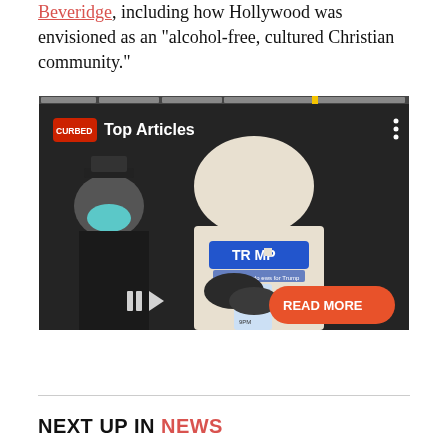Beveridge, including how Hollywood was envisioned as an "alcohol-free, cultured Christian community."
[Figure (screenshot): Screenshot of a Curbed 'Top Articles' video widget showing a photograph of a man wearing a white shirt with a blue 'TRUMP' badge and a 'Google Orthodox Jews for Trump' lanyard, next to a person wearing a black hat and teal face mask. An orange 'READ MORE' button appears in the lower right of the image. A progress bar with a yellow marker is visible at the top.]
NEXT UP IN NEWS